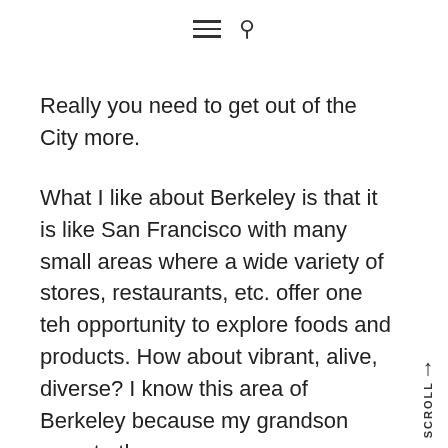☰ 🔍
Really you need to get out of the City more.
What I like about Berkeley is that it is like San Francisco with many small areas where a wide variety of stores, restaurants, etc. offer one teh opportunity to explore foods and products. How about vibrant, alive, diverse? I know this area of Berkeley because my grandson goes to the